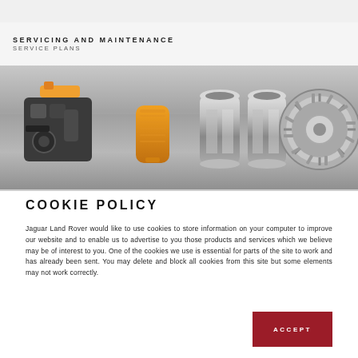JAGUAR
SERVICING AND MAINTENANCE
SERVICE PLANS
[Figure (photo): Automotive parts laid out on a metallic surface including an engine component, oil filter, exhaust tips, and a clutch/flywheel assembly]
COOKIE POLICY
Jaguar Land Rover would like to use cookies to store information on your computer to improve our website and to enable us to advertise to you those products and services which we believe may be of interest to you. One of the cookies we use is essential for parts of the site to work and has already been sent. You may delete and block all cookies from this site but some elements may not work correctly.
ACCEPT